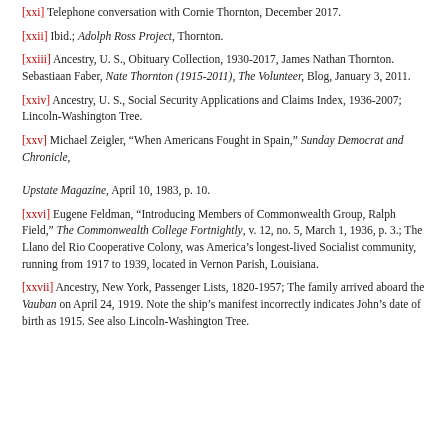[xxi] Telephone conversation with Cornie Thornton, December 2017.
[xxii] Ibid.; Adolph Ross Project, Thornton.
[xxiii] Ancestry, U. S., Obituary Collection, 1930-2017, James Nathan Thornton. Sebastiaan Faber, Nate Thornton (1915-2011), The Volunteer, Blog, January 3, 2011.
[xxiv] Ancestry, U. S., Social Security Applications and Claims Index, 1936-2007; Lincoln-Washington Tree.
[xxv] Michael Zeigler, “When Americans Fought in Spain,” Sunday Democrat and Chronicle, Upstate Magazine, April 10, 1983, p. 10.
[xxvi] Eugene Feldman, “Introducing Members of Commonwealth Group, Ralph Field,” The Commonwealth College Fortnightly, v. 12, no. 5, March 1, 1936, p. 3.; The Llano del Rio Cooperative Colony, was America’s longest-lived Socialist community, running from 1917 to 1939, located in Vernon Parish, Louisiana.
[xxvii] Ancestry, New York, Passenger Lists, 1820-1957; The family arrived aboard the Vauban on April 24, 1919. Note the ship’s manifest incorrectly indicates John’s date of birth as 1915. See also Lincoln-Washington Tree.